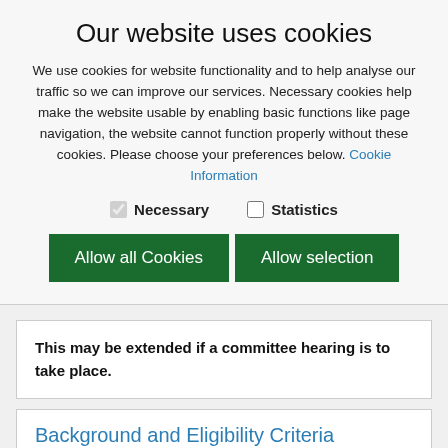Our website uses cookies
We use cookies for website functionality and to help analyse our traffic so we can improve our services. Necessary cookies help make the website usable by enabling basic functions like page navigation, the website cannot function properly without these cookies. Please choose your preferences below. Cookie Information
Necessary   Statistics
Allow all Cookies   Allow selection
This may be extended if a committee hearing is to take place.
Background and Eligibility Criteria
The Hypnotism Act 1952 states that no person shall give an exhibition, demonstration or performance of hypnotism on any